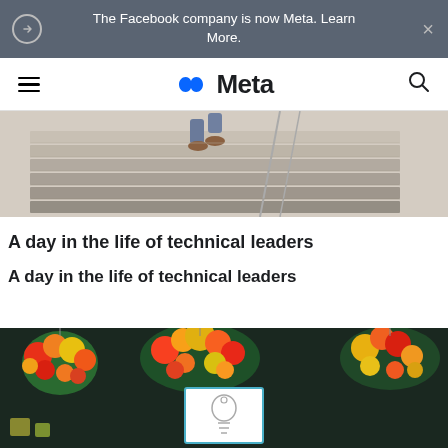The Facebook company is now Meta. Learn More.
[Figure (logo): Meta logo with infinity symbol and 'Meta' text in dark color]
[Figure (photo): Person walking down modern staircase with metal railing, viewed from above]
A day in the life of technical leaders
A day in the life of technical leaders
[Figure (photo): Colorful hanging flower baskets in red, yellow, orange colors with a light bulb logo sign in background]